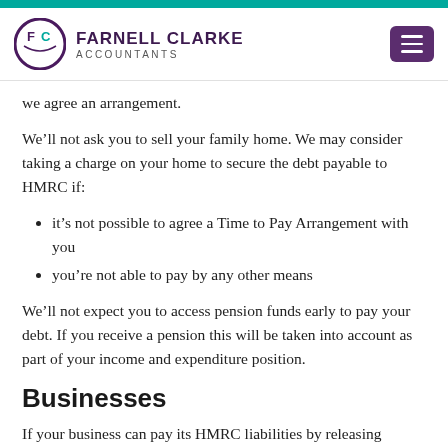FARNELL CLARKE ACCOUNTANTS
we agree an arrangement.
We’ll not ask you to sell your family home. We may consider taking a charge on your home to secure the debt payable to HMRC if:
it’s not possible to agree a Time to Pay Arrangement with you
you’re not able to pay by any other means
We’ll not expect you to access pension funds early to pay your debt. If you receive a pension this will be taken into account as part of your income and expenditure position.
Businesses
If your business can pay its HMRC liabilities by releasing